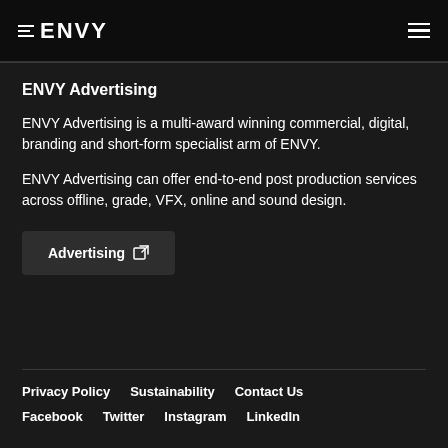ENVY
ENVY Advertising
ENVY Advertising is a multi-award winning commercial, digital, branding and short-form specialist arm of ENVY.
ENVY Advertising can offer end-to-end post production services across offline, grade, VFX, online and sound design.
Advertising
Privacy Policy  Sustainability  Contact Us  Facebook  Twitter  Instagram  LinkedIn